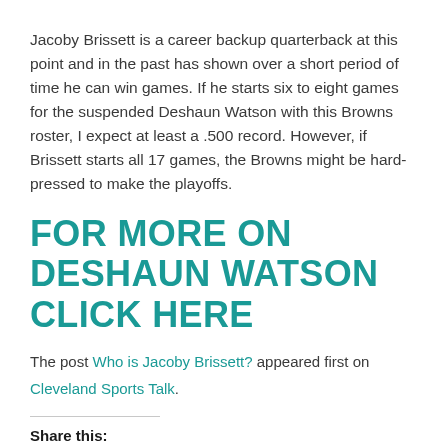Jacoby Brissett is a career backup quarterback at this point and in the past has shown over a short period of time he can win games. If he starts six to eight games for the suspended Deshaun Watson with this Browns roster, I expect at least a .500 record. However, if Brissett starts all 17 games, the Browns might be hard-pressed to make the playoffs.
FOR MORE ON DESHAUN WATSON CLICK HERE
The post Who is Jacoby Brissett? appeared first on Cleveland Sports Talk.
Share this:
[Figure (illustration): Twitter and Facebook social share icon buttons, circular teal icons]